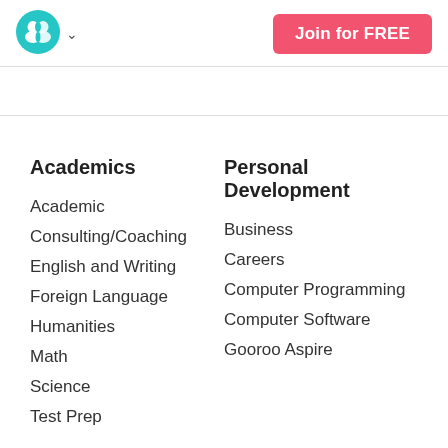[Figure (logo): Gooroo teal circular logo with two overlapping face silhouettes]
Join for FREE
Academics
Academic
Consulting/Coaching
English and Writing
Foreign Language
Humanities
Math
Science
Test Prep
Personal Development
Business
Careers
Computer Programming
Computer Software
Gooroo Aspire